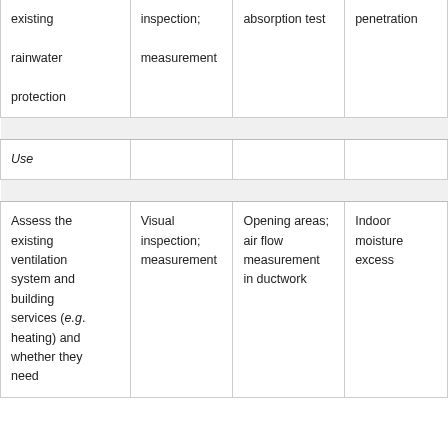| existing rainwater protection | inspection; measurement | absorption test | penetration |
| Use |  |  |  |
| Assess the existing ventilation system and building services (e.g. heating) and whether they need | Visual inspection; measurement | Opening areas; air flow measurement in ductwork | Indoor moisture excess |